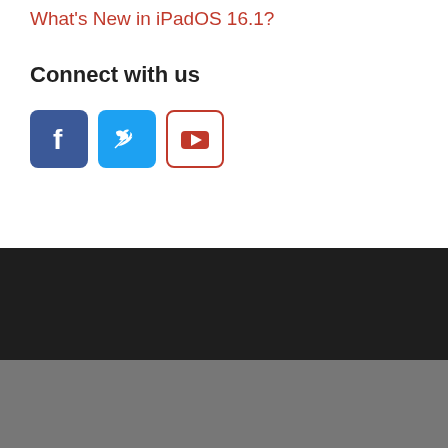What's New in iPadOS 16.1?
Connect with us
[Figure (illustration): Social media icons: Facebook (blue rounded square), Twitter (light blue rounded square), YouTube (white rounded square with red border and play button)]
ABOUT
About Us
Contact us
Advertise